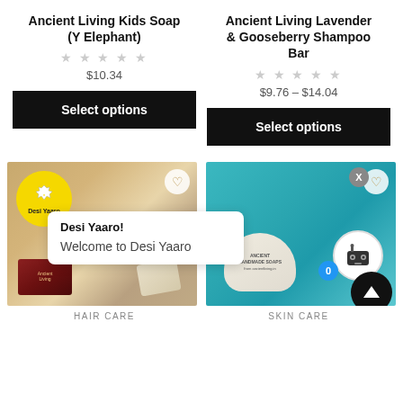Ancient Living Kids Soap (Y Elephant)
★★★★★
$10.34
Select options
Ancient Living Lavender & Gooseberry Shampoo Bar
★★★★★
$9.76 – $14.04
Select options
[Figure (photo): Product photo of Ancient Living soap bar with box, with Desi Yaaro badge and welcome popup overlay]
Desi Yaaro!
Welcome to Desi Yaaro
HAIR CARE
[Figure (photo): Product photo of Ancient Living Handmade Soaps in cloth bag on teal background, with chat robot icon and up arrow button]
SKIN CARE